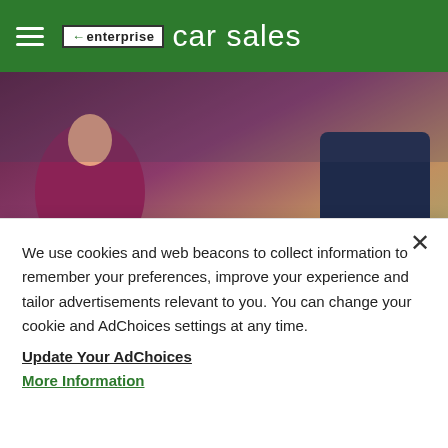enterprise car sales
[Figure (photo): A car dealership scene showing a woman in a magenta top and a man in a dark suit sitting across a desk, with a salesperson pointing at a tablet on the desk.]
We use cookies and web beacons to collect information to remember your preferences, improve your experience and tailor advertisements relevant to you. You can change your cookie and AdChoices settings at any time.
Update Your AdChoices
More Information